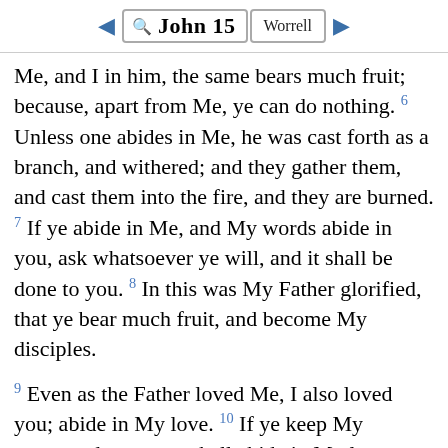John 15  Worrell
Me, and I in him, the same bears much fruit; because, apart from Me, ye can do nothing. 6 Unless one abides in Me, he was cast forth as a branch, and withered; and they gather them, and cast them into the fire, and they are burned. 7 If ye abide in Me, and My words abide in you, ask whatsoever ye will, and it shall be done to you. 8 In this was My Father glorified, that ye bear much fruit, and become My disciples.
9 Even as the Father loved Me, I also loved you; abide in My love. 10 If ye keep My commandments, ye shall abide in My love, even as I have kept My Father's commandments, and abide in His love.
11 These things have I spoken to you, that My joy may be in you, and that your joy may be made full. 12 This is My commandment, that ye love one another, even as I loved you. 13 Greater love has no one than this, that one lay